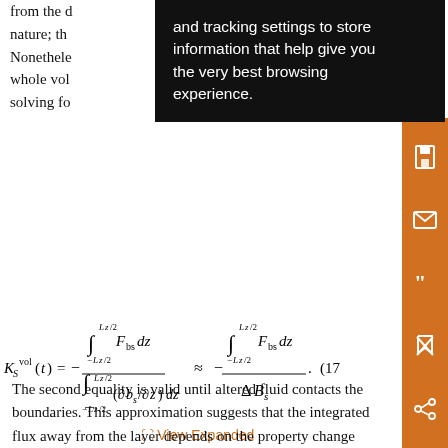from the ... and tracking settings to store ... ear in nature; th... information that help give you ... dient. Nonetheless... the very best browsing ... he whole vol... experience. ... d solving fo...
View Expanded
The second equality is valid until altered fluid contacts the boundaries. This approximation suggests that the integrated flux away from the layer depends on the property change across the layer, even though the flux and the gradient are not spatially collocated. The resulting diffusivities (Fig. 8) are similar to those found at the centerline (Fig. 7), except that their maxima are smaller